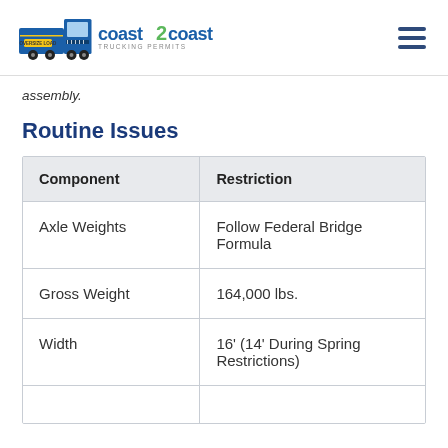Coast 2 Coast Trucking Permits
assembly.
Routine Issues
| Component | Restriction |
| --- | --- |
| Axle Weights | Follow Federal Bridge Formula |
| Gross Weight | 164,000 lbs. |
| Width | 16' (14' During Spring Restrictions) |
|  |  |